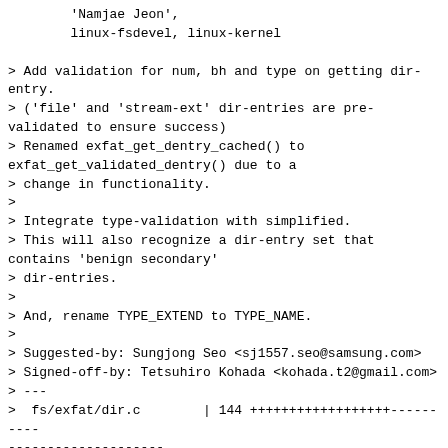'Namjae Jeon',
        linux-fsdevel, linux-kernel

> Add validation for num, bh and type on getting dir-entry.
> ('file' and 'stream-ext' dir-entries are pre-validated to ensure success)
> Renamed exfat_get_dentry_cached() to exfat_get_validated_dentry() due to a
> change in functionality.
>
> Integrate type-validation with simplified.
> This will also recognize a dir-entry set that contains 'benign secondary'
> dir-entries.
>
> And, rename TYPE_EXTEND to TYPE_NAME.
>
> Suggested-by: Sungjong Seo <sj1557.seo@samsung.com>
> Signed-off-by: Tetsuhiro Kohada <kohada.t2@gmail.com>
> ---
>  fs/exfat/dir.c        | 144 ++++++++++++++++++------------------
>  fs/exfat/exfat_fs.h |  15 +++--
>  fs/exfat/file.c       |   4 +-
>  fs/exfat/inode.c      |   6 +-
>  fs/exfat/namei.c      |   4 +-
>  5 files changed, 73 insertions(+), 100 deletions(-)
>
> diff --git a/fs/exfat/dir.c b/fs/exfat/dir.c index